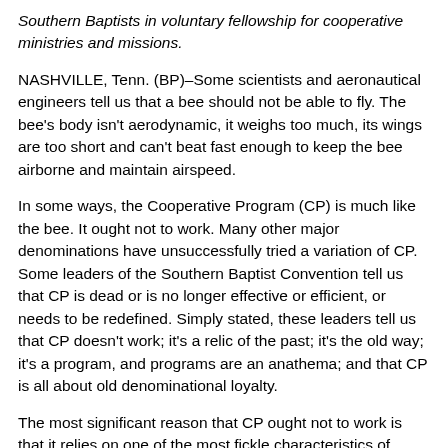Southern Baptists in voluntary fellowship for cooperative ministries and missions.
NASHVILLE, Tenn. (BP)–Some scientists and aeronautical engineers tell us that a bee should not be able to fly. The bee's body isn't aerodynamic, it weighs too much, its wings are too short and can't beat fast enough to keep the bee airborne and maintain airspeed.
In some ways, the Cooperative Program (CP) is much like the bee. It ought not to work. Many other major denominations have unsuccessfully tried a variation of CP. Some leaders of the Southern Baptist Convention tell us that CP is dead or is no longer effective or efficient, or needs to be redefined. Simply stated, these leaders tell us that CP doesn't work; it's a relic of the past; it's the old way; it's a program, and programs are an anathema; and that CP is all about old denominational loyalty.
The most significant reason that CP ought not to work is that it relies on one of the most fickle characteristics of humans — an enduring willingness to freely and willfully cooperate. We all know that this